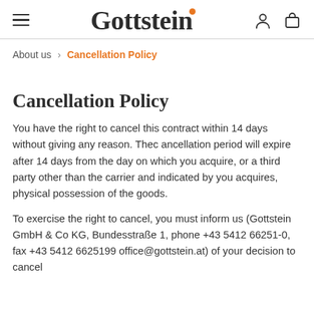Gottstein
About us > Cancellation Policy
Cancellation Policy
You have the right to cancel this contract within 14 days without giving any reason. Thec ancellation period will expire after 14 days from the day on which you acquire, or a third party other than the carrier and indicated by you acquires, physical possession of the goods.
To exercise the right to cancel, you must inform us (Gottstein GmbH & Co KG, Bundesstraße 1, phone +43 5412 66251-0, fax +43 5412 6625199 office@gottstein.at) of your decision to cancel